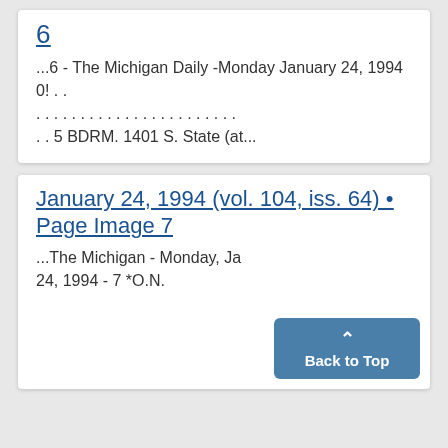6
...6 - The Michigan Daily -Monday January 24, 1994 0! . . . . . . . . . . . . . . . . . . . . . . . . . . 5 BDRM. 1401 S. State (at...
January 24, 1994 (vol. 104, iss. 64) • Page Image 7
...The Michigan - Monday, January 24, 1994 - 7 *O.N.